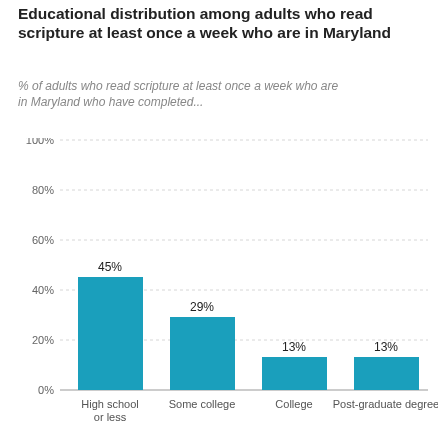Educational distribution among adults who read scripture at least once a week who are in Maryland
% of adults who read scripture at least once a week who are in Maryland who have completed...
[Figure (bar-chart): Educational distribution among adults who read scripture at least once a week who are in Maryland]